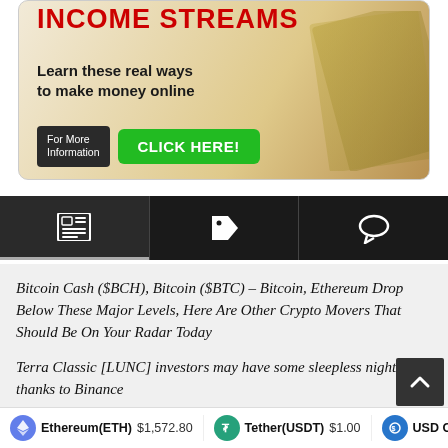[Figure (illustration): Advertisement banner: red bold text 'INCOME STREAMS', subtitle 'Learn these real ways to make money online', dark button 'For More Information', green button 'CLICK HERE!', background shows hand holding money]
[Figure (infographic): Navigation tab bar with three icons: newspaper/article icon (active, dark background), tag/price icon, comment/speech bubble icon]
Bitcoin Cash ($BCH), Bitcoin ($BTC) – Bitcoin, Ethereum Drop Below These Major Levels, Here Are Other Crypto Movers That Should Be On Your Radar Today
Terra Classic [LUNC] investors may have some sleepless nights thanks to Binance
[Figure (infographic): Bottom ticker bar showing: Ethereum(ETH) $1,572.80 | Tether(USDT) $1.00 | USD C...]